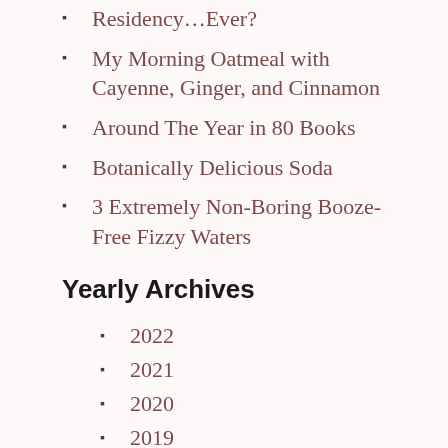Residency…Ever?
My Morning Oatmeal with Cayenne, Ginger, and Cinnamon
Around The Year in 80 Books
Botanically Delicious Soda
3 Extremely Non-Boring Booze-Free Fizzy Waters
Yearly Archives
2022
2021
2020
2019
2018